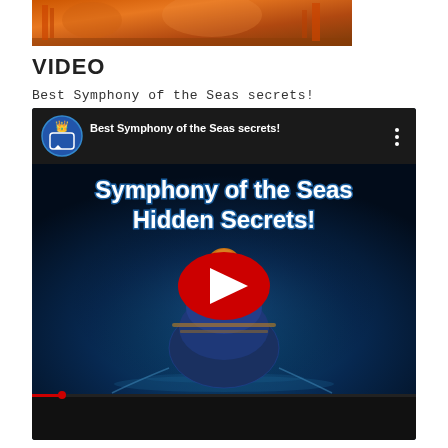[Figure (photo): Partial top crop of a photo showing orange/amber industrial or shipyard scene at dusk]
VIDEO
Best Symphony of the Seas secrets!
[Figure (screenshot): YouTube video thumbnail embed showing 'Best Symphony of the Seas secrets!' with cruise ship aerial view titled 'Symphony of the Seas Hidden Secrets!' with red YouTube play button]